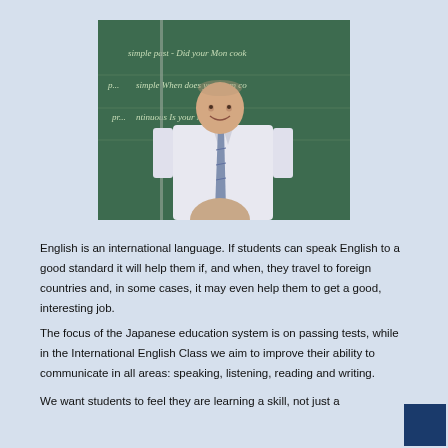[Figure (photo): A smiling male teacher standing in front of a green chalkboard with English grammar notes written in chalk. He is wearing a white short-sleeve shirt and a blue/grey tie.]
English is an international language. If students can speak English to a good standard it will help them if, and when, they travel to foreign countries and, in some cases, it may even help them to get a good, interesting job.
The focus of the Japanese education system is on passing tests, while in the International English Class we aim to improve their ability to communicate in all areas: speaking, listening, reading and writing.
We want students to feel they are learning a skill, not just a